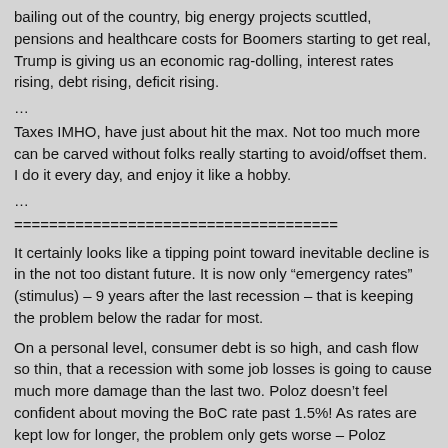bailing out of the country, big energy projects scuttled, pensions and healthcare costs for Boomers starting to get real, Trump is giving us an economic rag-dolling, interest rates rising, debt rising, deficit rising.
…
Taxes IMHO, have just about hit the max. Not too much more can be carved without folks really starting to avoid/offset them. I do it every day, and enjoy it like a hobby.
…
=====================================
It certainly looks like a tipping point toward inevitable decline is in the not too distant future. It is now only "emergency rates" (stimulus) – 9 years after the last recession – that is keeping the problem below the radar for most.
On a personal level, consumer debt is so high, and cash flow so thin, that a recession with some job losses is going to cause much more damage than the last two. Poloz doesn't feel confident about moving the BoC rate past 1.5%! As rates are kept low for longer, the problem only gets worse – Poloz seems to think that if he talks about it enough, Canadians will suddenly switch from debt accumulation to paying that debt off, without an increase in rates (first class delusional).
Government debt, across all 3 levels of gov't (fed, prov & territories,